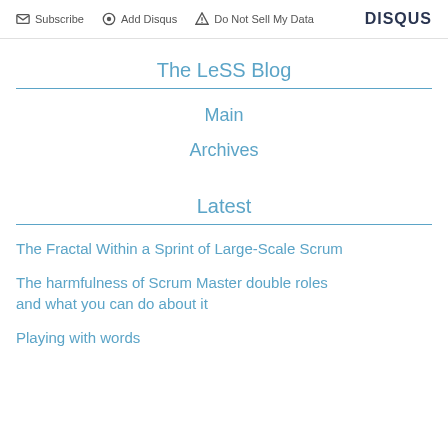Subscribe  Add Disqus  Do Not Sell My Data  DISQUS
The LeSS Blog
Main
Archives
Latest
The Fractal Within a Sprint of Large-Scale Scrum
The harmfulness of Scrum Master double roles and what you can do about it
Playing with words